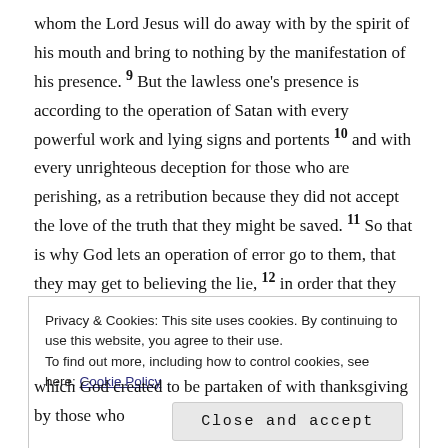whom the Lord Jesus will do away with by the spirit of his mouth and bring to nothing by the manifestation of his presence. 9 But the lawless one's presence is according to the operation of Satan with every powerful work and lying signs and portents 10 and with every unrighteous deception for those who are perishing, as a retribution because they did not accept the love of the truth that they might be saved. 11 So that is why God lets an operation of error go to them, that they may get to believing the lie, 12 in order that they all may be judged because they did not believe the truth but took pleasure in unrighteousness.
Privacy & Cookies: This site uses cookies. By continuing to use this website, you agree to their use.
To find out more, including how to control cookies, see here: Cookie Policy
Close and accept
which God created to be partaken of with thanksgiving by those who